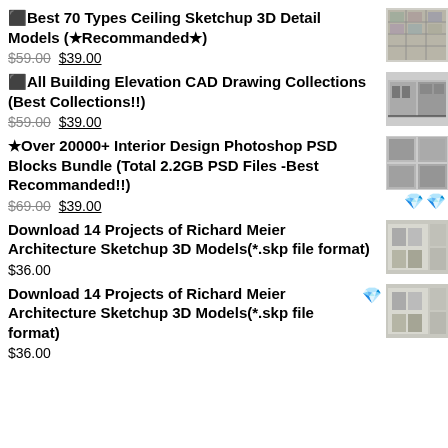⬛Best 70 Types Ceiling Sketchup 3D Detail Models (★Recommanded★) $59.00 $39.00
⬛All Building Elevation CAD Drawing Collections (Best Collections!!) $59.00 $39.00
★Over 20000+ Interior Design Photoshop PSD Blocks Bundle (Total 2.2GB PSD Files -Best Recommanded!!) $69.00 $39.00
Download 14 Projects of Richard Meier Architecture Sketchup 3D Models(*.skp file format) $36.00
Download 14 Projects of Richard Meier Architecture Sketchup 3D Models(*.skp file format) $36.00